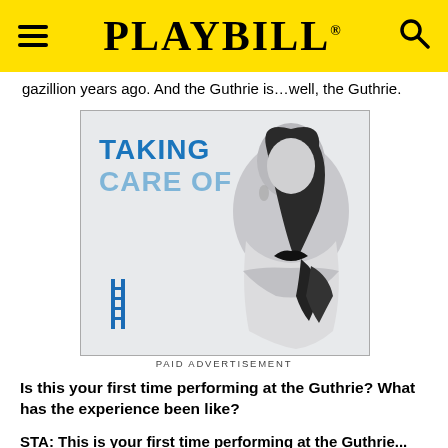PLAYBILL
gazillion years ago. And the Guthrie is…well, the Guthrie.
[Figure (illustration): Advertisement image showing a woman with arms crossed, with text 'TAKING CARE OF' and a blue logo mark]
PAID ADVERTISEMENT
Is this your first time performing at the Guthrie? What has the experience been like?
STA: This is your first time performing at the Guthrie...